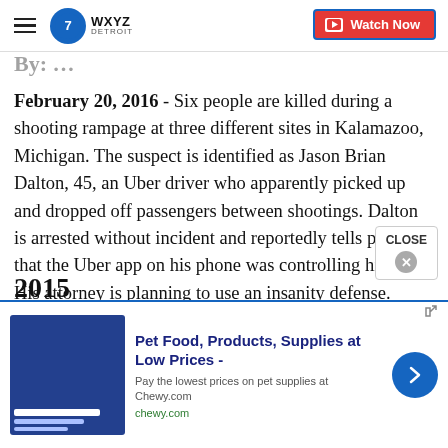WXYZ Detroit — Watch Now
February 20, 2016 - Six people are killed during a shooting rampage at three different sites in Kalamazoo, Michigan. The suspect is identified as Jason Brian Dalton, 45, an Uber driver who apparently picked up and dropped off passengers between shootings. Dalton is arrested without incident and reportedly tells police that the Uber app on his phone was controlling his mind. His attorney is planning to use an insanity defense.
2015
[Figure (screenshot): Advertisement banner: Pet Food, Products, Supplies at Low Prices - Chewy.com. Pay the lowest prices on pet supplies at Chewy.com. chewy.com]